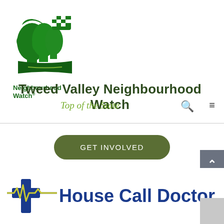[Figure (logo): Neighbourhood Watch logo: green silhouettes of three faces looking right, with a dotted badge/shield, above text 'Neighbourhood Watch.']
Tweed Valley Neighbourhood Watch
Top of the State
GET INVOLVED
[Figure (logo): House Call Doctor logo: blue cross with yellow ECG/heartbeat line through it, beside bold blue text 'House Call Doctor']